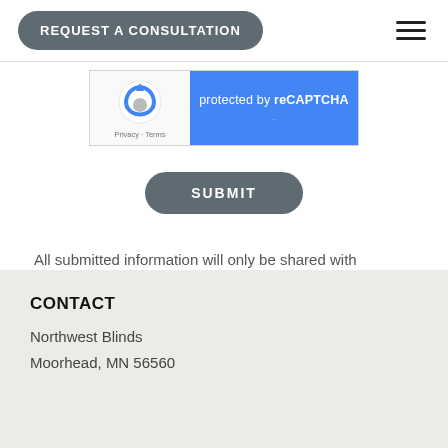REQUEST A CONSULTATION
[Figure (screenshot): reCAPTCHA widget showing Google logo with circular arrows on grey background and 'protected by reCAPTCHA' text on blue background, with Privacy and Terms links below]
SUBMIT
All submitted information will only be shared with Northwest Blinds and Hunter Douglas. See our full Privacy Policy.
CONTACT
Northwest Blinds
Moorhead, MN 56560